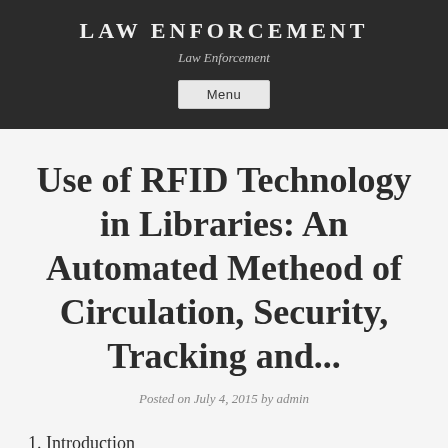LAW ENFORCEMENT
Law Enforcement
Use of RFID Technology in Libraries: An Automated Metheod of Circulation, Security, Tracking and...
Posted on July 4, 2015 by admin
1. Introduction